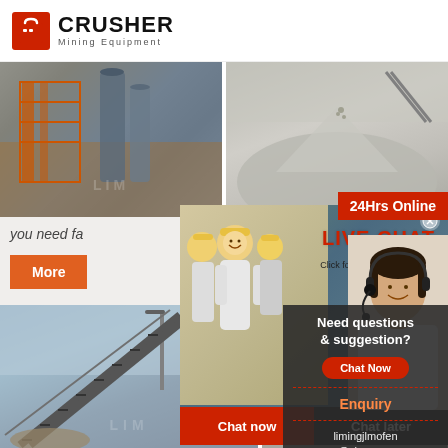[Figure (logo): Crusher Mining Equipment logo with red shopping bag icon and bold CRUSHER text]
[Figure (photo): Industrial mining facility with orange scaffolding and large silos]
[Figure (photo): Gravel/aggregate pile at mining site with conveyor equipment]
24Hrs Online
you need fa
More
[Figure (infographic): Live Chat popup overlay with workers in hard hats, LIVE CHAT heading, Click for a Free Consultation text, Chat now and Chat later buttons, and customer service representative with headset]
[Figure (photo): Conveyor belt system at mining/quarry site]
[Figure (photo): Mining machinery/crusher equipment at quarry]
Need questions & suggestion?
Chat Now
Enquiry
limingjlmofen@sina.com